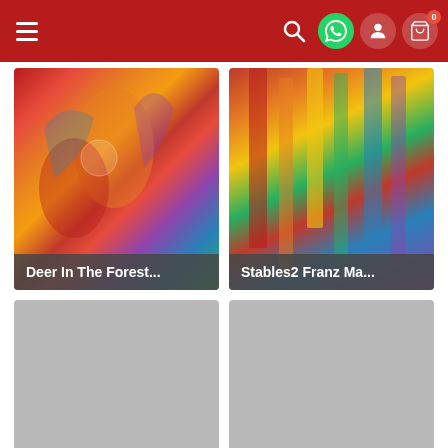Navigation bar with hamburger menu, search, WhatsApp, profile, and cart (0) icons
[Figure (photo): Painting: Deer In The Forest - colorful expressionist artwork with warm reds, oranges, yellows]
Deer In The Forest...
[Figure (photo): Painting: Stables2 Franz Ma... - expressionist artwork with vertical forms in red, yellow, green, blue]
Stables2 Franz Ma...
[Figure (photo): Gray placeholder image for The Large Blue Ho...]
The Large Blue Ho...
[Figure (photo): Gray placeholder image for Cats Franz Marc]
Cats Franz Marc
Recently Viewed